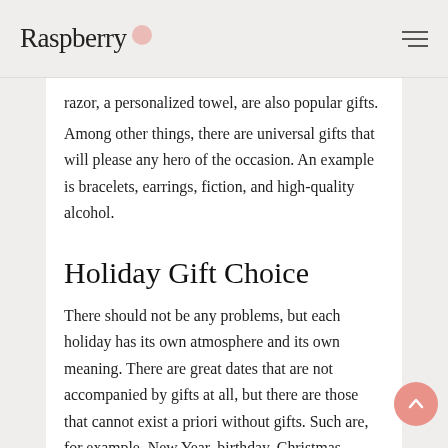Raspberry
razor, a personalized towel, are also popular gifts.
Among other things, there are universal gifts that will please any hero of the occasion. An example is bracelets, earrings, fiction, and high-quality alcohol.
Holiday Gift Choice
There should not be any problems, but each holiday has its own atmosphere and its own meaning. There are great dates that are not accompanied by gifts at all, but there are those that cannot exist a priori without gifts. Such are, for example, New Year, birthday, Christmas, Easter, wedding anniversary or the wedding